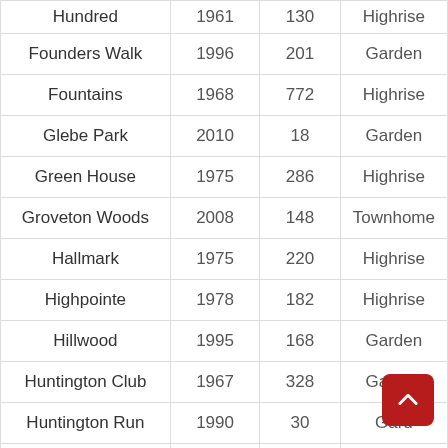|  |  |  |  |
| --- | --- | --- | --- |
| Hundred | 1961 | 130 | Highrise |
| Founders Walk | 1996 | 201 | Garden |
| Fountains | 1968 | 772 | Highrise |
| Glebe Park | 2010 | 18 | Garden |
| Green House | 1975 | 286 | Highrise |
| Groveton Woods | 2008 | 148 | Townhome |
| Hallmark | 1975 | 220 | Highrise |
| Highpointe | 1978 | 182 | Highrise |
| Hillwood | 1995 | 168 | Garden |
| Huntington Club | 1967 | 328 | Garden |
| Huntington Run | 1990 | 30 | Garden |
| Huntington Walk | 1966 | 72 | Garden |